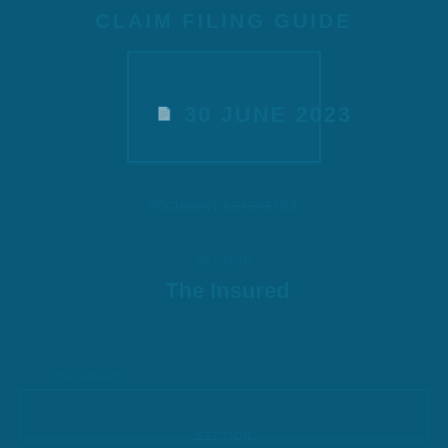[Figure (other): Dark teal/blue cover page with faint watermark-style text and a bordered box region. Text elements are barely visible against the dark background, suggesting a document cover or title page with very low contrast decorative elements.]